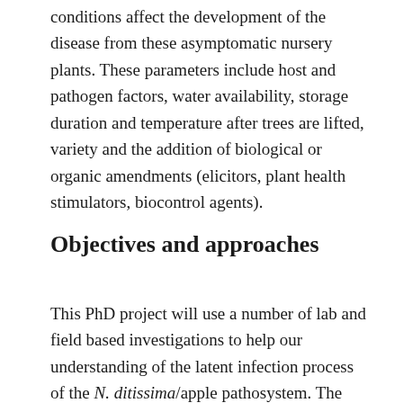conditions affect the development of the disease from these asymptomatic nursery plants. These parameters include host and pathogen factors, water availability, storage duration and temperature after trees are lifted, variety and the addition of biological or organic amendments (elicitors, plant health stimulators, biocontrol agents).
Objectives and approaches
This PhD project will use a number of lab and field based investigations to help our understanding of the latent infection process of the N. ditissima/apple pathosystem. The